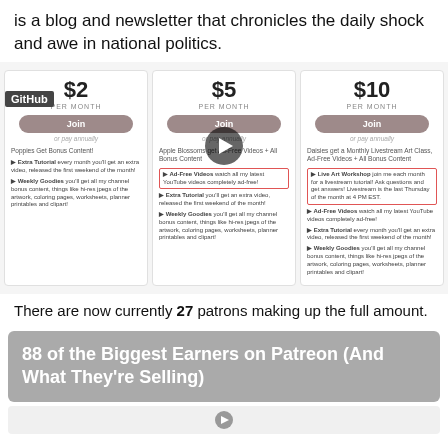is a blog and newsletter that chronicles the daily shock and awe in national politics.
[Figure (screenshot): Patreon pricing tiers screenshot showing three subscription tiers: $2/month (Poppies), $5/month (Apple Blossoms), and $10/month (Daisies), each with Join buttons and feature lists. A GitHub logo overlay appears on the left column. A video play button overlay appears on the middle column.]
There are now currently 27 patrons making up the full amount.
88 of the Biggest Earners on Patreon (And What They're Selling)